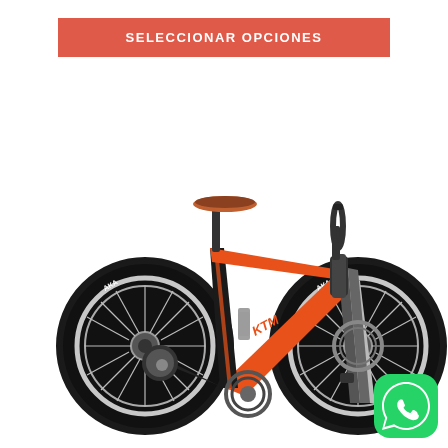SELECCIONAR OPCIONES
[Figure (photo): Black and orange mountain bike (hardtail MTB) with 29-inch wheels, front suspension fork, disc brakes, and multiple gears. AKA tires visible on both wheels. Viewed from the left/drive side.]
[Figure (logo): WhatsApp green circular logo in the bottom-right corner]